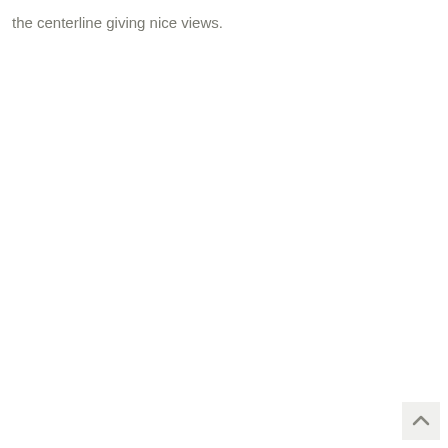the centerline giving nice views.